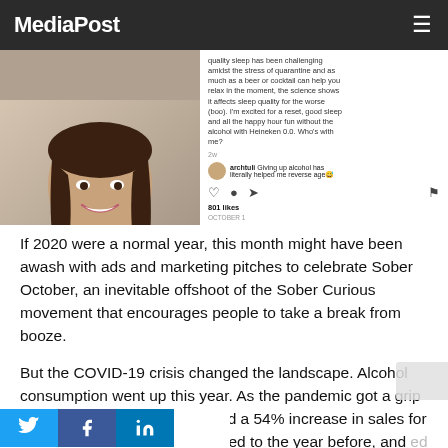MediaPost
[Figure (screenshot): Instagram post screenshot showing a woman taking a selfie with text overlay '#OCTOBERAF #SOBEROCTOBER WITH HEINEKEN 0.0 #AD', alongside the Instagram caption about sleep quality and alcohol, a comment from archtuli about giving up alcohol, 801 likes, and action icons.]
If 2020 were a normal year, this month might have been awash with ads and marketing pitches to celebrate Sober October, an inevitable offshoot of the Sober Curious movement that encourages people to take a break from booze.
But the COVID-19 crisis changed the landscape. Alcohol consumption went up this year. As the pandemic got a grip on Americans, Nielsen reported a 54% increase in sales for the week of March 21, compared to the year before, and ...ed 262% compared to 2019. Though the